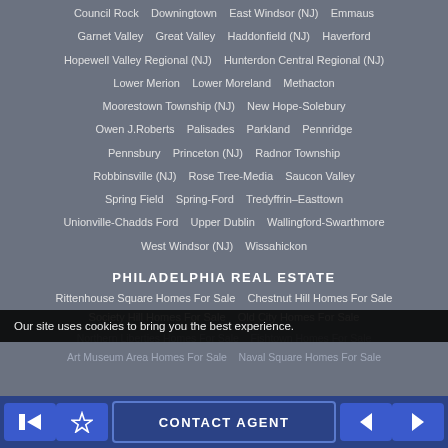Council Rock   Downingtown   East Windsor (NJ)   Emmaus
Garnet Valley   Great Valley   Haddonfield (NJ)   Haverford
Hopewell Valley Regional (NJ)   Hunterdon Central Regional (NJ)
Lower Merion   Lower Moreland   Methacton
Moorestown Township (NJ)   New Hope-Solebury
Owen J.Roberts   Palisades   Parkland   Pennridge
Pennsbury   Princeton (NJ)   Radnor Township
Robbinsville (NJ)   Rose Tree-Media   Saucon Valley
Spring Field   Spring-Ford   Tredyffrin–Easttown
Unionville-Chadds Ford   Upper Dublin   Wallingford-Swarthmore
West Windsor (NJ)   Wissahickon
PHILADELPHIA REAL ESTATE
Rittenhouse Square Homes For Sale   Chestnut Hill Homes For Sale
Society Hill Homes For Sale   Old City Homes For Sale
Northern Liberties Homes For Sale   Fishtown Homes For Sale
Art Museum Area Homes For Sale   Naval Square Homes For Sale
Our site uses cookies to bring you the best experience.
CONTACT AGENT